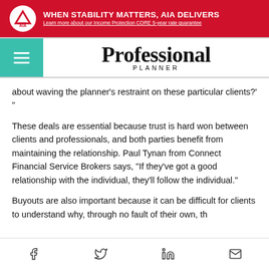[Figure (other): AIA advertisement banner: red background with AIA logo, text 'WHEN STABILITY MATTERS, AIA DELIVERS' and subtext 'Learn more about our Income Protection CORE 5-year rate guarantee']
Professional Planner
about waving the planner’s restraint on these particular clients?’ “
These deals are essential because trust is hard won between clients and professionals, and both parties benefit from maintaining the relationship. Paul Tynan from Connect Financial Service Brokers says, “If they’ve got a good relationship with the individual, they’ll follow the individual.”
Buyouts are also important because it can be difficult for clients to understand why, through no fault of their own, th...
Social share icons: Facebook, Twitter, LinkedIn, Email